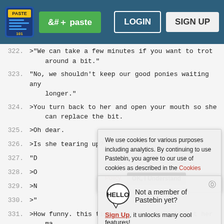[Figure (screenshot): Pastebin website navigation bar with logo, paste button, login and sign up buttons]
322. >"We can take a few minutes if you want to trot around a bit."
323. "No, we shouldn't keep our good ponies waiting any longer."
324. >You turn back to her and open your mouth so she can replace the bit.
325. >Oh dear.
326. >Is she tearing up?
327. "D
328. >O
329. >N
330. >"
331. >How funny. this time it's your turn to pet her ma
332.
333. >You put on a strong face for harvest as the tw of you walk to the block, but your insides twist
We use cookies for various purposes including analytics. By continuing to use Pastebin, you agree to our use of cookies as described in the Cookies Policy. OK, I Understand
Not a member of Pastebin yet? Sign Up, it unlocks many cool features!